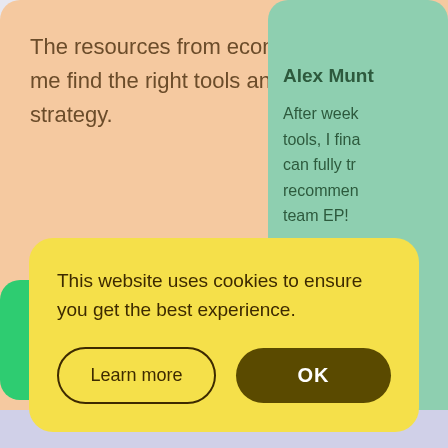The resources from ecommerce-platforms.com helped me find the right tools and to kickstart our marketing strategy.
Alex Munt
After week tools, I fina can fully tr recommen team EP!
This website uses cookies to ensure you get the best experience.
Learn more
OK